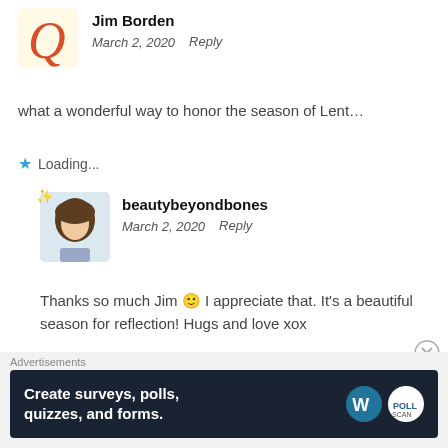Jim Borden
March 2, 2020   Reply
what a wonderful way to honor the season of Lent…
Loading...
beautybeyondbones
March 2, 2020   Reply
Thanks so much Jim 🙂 I appreciate that. It's a beautiful season for reflection! Hugs and love xox
Advertisements
[Figure (screenshot): Advertisement banner: Create surveys, polls, quizzes, and forms. WordPress and PollScan logos on dark background.]